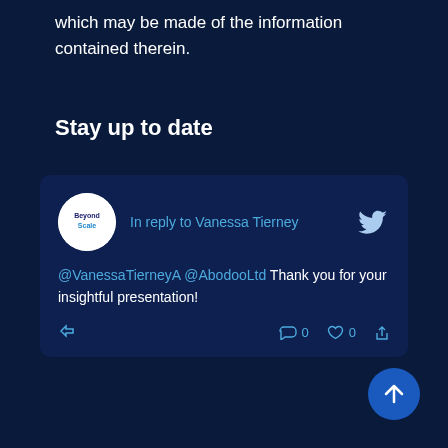which may be made of the information contained therein.
Stay up to date
[Figure (screenshot): Tweet card from BeyondScale account replying to Vanessa Tierney: '@VanessaTierneyA @AbodooLtd Thank you for your insightful presentation!' with retweet count 0 and like count 0]
[Figure (other): Floating action button with upward arrow]